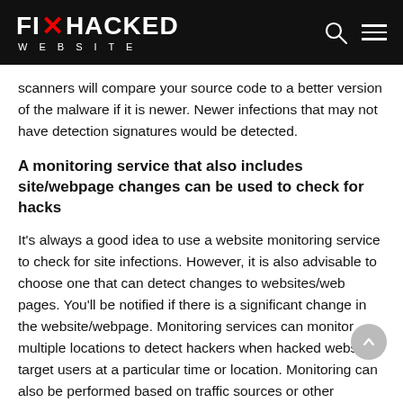FIX HACKED WEBSITE
scanners will compare your source code to a better version of the malware if it is newer. Newer infections that may not have detection signatures would be detected.
A monitoring service that also includes site/webpage changes can be used to check for hacks
It's always a good idea to use a website monitoring service to check for site infections. However, it is also advisable to choose one that can detect changes to websites/web pages. You'll be notified if there is a significant change in the website/webpage. Monitoring services can monitor multiple locations to detect hackers when hacked websites target users at a particular time or location. Monitoring can also be performed based on traffic sources or other parameters.
Monitor website traffic to spot spikes and identify hacks